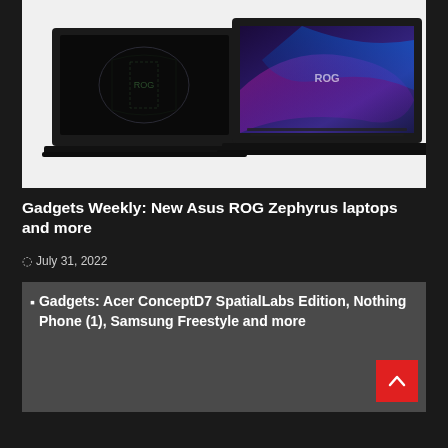[Figure (photo): Two Asus ROG Zephyrus gaming laptops side by side on a white/light background. The left laptop shows a dark ROG logo wallpaper, the right laptop shows a colorful blue/purple abstract ROG wallpaper.]
Gadgets Weekly: New Asus ROG Zephyrus laptops and more
July 31, 2022
[Figure (screenshot): Related article thumbnail with gray background and broken image icon placeholder. Text reads: Gadgets: Acer ConceptD7 SpatialLabs Edition, Nothing Phone (1), Samsung Freestyle and more]